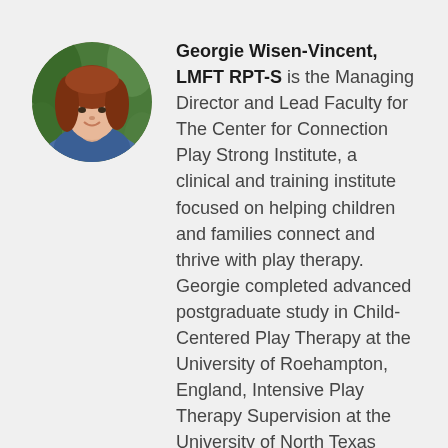[Figure (photo): Circular cropped portrait photo of a woman with long red/auburn hair, wearing a blue scarf, smiling, with green foliage in background.]
Georgie Wisen-Vincent, LMFT RPT-S is the Managing Director and Lead Faculty for The Center for Connection Play Strong Institute, a clinical and training institute focused on helping children and families connect and thrive with play therapy. Georgie completed advanced postgraduate study in Child-Centered Play Therapy at the University of Roehampton, England, Intensive Play Therapy Supervision at the University of North Texas Center for Play